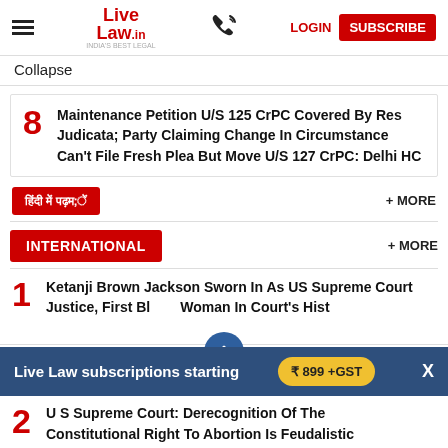Live Law | LOGIN | SUBSCRIBE
Collapse
8 Maintenance Petition U/S 125 CrPC Covered By Res Judicata; Party Claiming Change In Circumstance Can't File Fresh Plea But Move U/S 127 CrPC: Delhi HC
हिंदी में पढ़ें   + MORE
INTERNATIONAL   + MORE
1 Ketanji Brown Jackson Sworn In As US Supreme Court Justice, First Black Woman In Court's History
Live Law subscriptions starting   ₹ 899 +GST   X
2 U S Supreme Court: Derecognition Of The Constitutional Right To Abortion Is Feudalistic